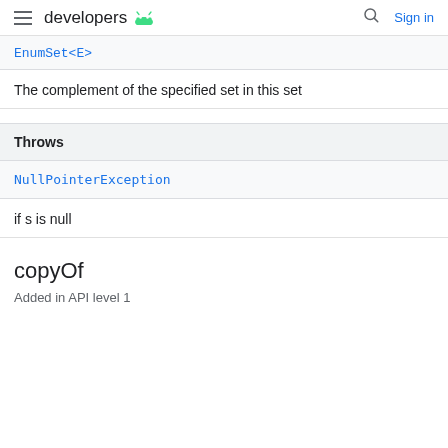developers | Sign in
EnumSet<E>
The complement of the specified set in this set
Throws
NullPointerException
if s is null
copyOf
Added in API level 1